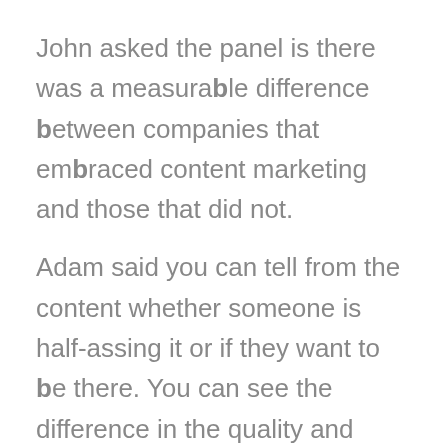John asked the panel is there was a measurable difference between companies that embraced content marketing and those that did not.
Adam said you can tell from the content whether someone is half-assing it or if they want to be there. You can see the difference in the quality and presentation, and also in the demeanor or the writing and videos.